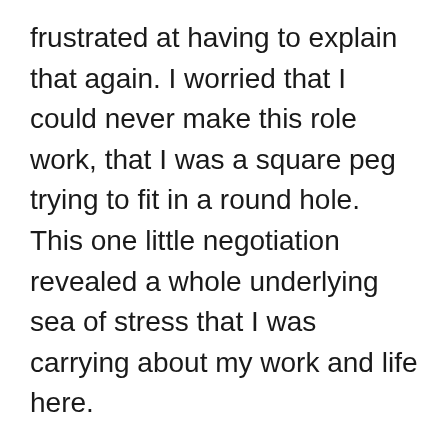frustrated at having to explain that again. I worried that I could never make this role work, that I was a square peg trying to fit in a round hole. This one little negotiation revealed a whole underlying sea of stress that I was carrying about my work and life here.
That's where the personal emotional baggage kicked in. Over and over, I could hear my mother's voice in my head telling me that I had no right to ask for any special consideration, that I was not entitled to any needs of my own. Of course, I wasn't having